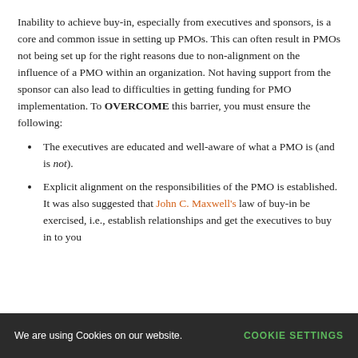Inability to achieve buy-in, especially from executives and sponsors, is a core and common issue in setting up PMOs. This can often result in PMOs not being set up for the right reasons due to non-alignment on the influence of a PMO within an organization. Not having support from the sponsor can also lead to difficulties in getting funding for PMO implementation. To OVERCOME this barrier, you must ensure the following:
The executives are educated and well-aware of what a PMO is (and is not).
Explicit alignment on the responsibilities of the PMO is established. It was also suggested that John C. Maxwell's law of buy-in be exercised, i.e., establish relationships and get the executives to buy in to you
We are using Cookies on our website. COOKIE SETTINGS